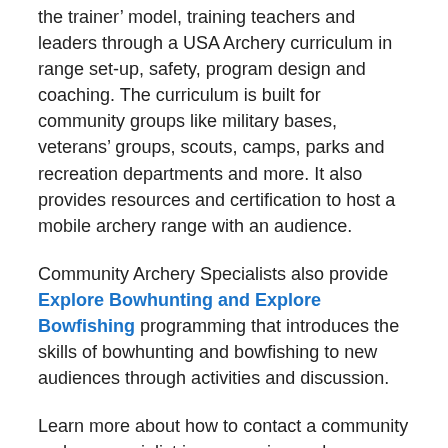the trainer' model, training teachers and leaders through a USA Archery curriculum in range set-up, safety, program design and coaching. The curriculum is built for community groups like military bases, veterans' groups, scouts, camps, parks and recreation departments and more. It also provides resources and certification to host a mobile archery range with an audience.
Community Archery Specialists also provide Explore Bowhunting and Explore Bowfishing programming that introduces the skills of bowhunting and bowfishing to new audiences through activities and discussion.
Learn more about how to contact a community archery specialist in your region and express your interest in sharing archery with your audience via the Community Archery Program website.